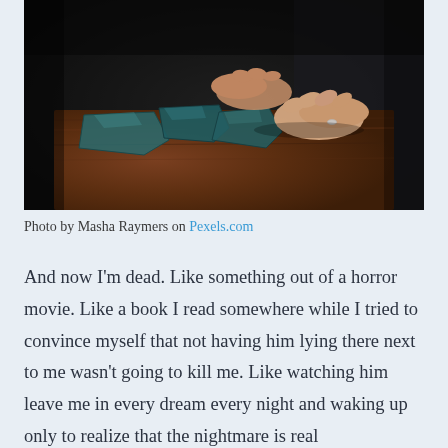[Figure (photo): Hands handling broken pieces of dark teal/green glass or ceramic on a wooden surface, dark moody background]
Photo by Masha Raymers on Pexels.com
And now I'm dead. Like something out of a horror movie. Like a book I read somewhere while I tried to convince myself that not having him lying there next to me wasn't going to kill me. Like watching him leave me in every dream every night and waking up only to realize that the nightmare is real